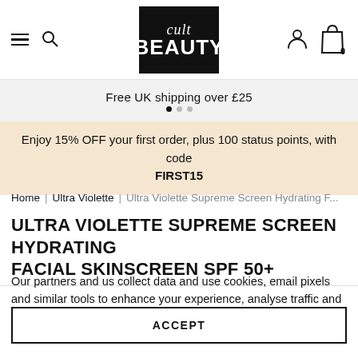Cult Beauty navigation header with hamburger menu, search icon, Cult Beauty logo, user icon, and shopping bag (0 items)
Free UK shipping over £25
Enjoy 15% OFF your first order, plus 100 status points, with code FIRST15
Home | Ultra Violette | Ultra Violette Supreme Screen Hydrating F...
ULTRA VIOLETTE SUPREME SCREEN HYDRATING FACIAL SKINSCREEN SPF 50+
Our partners and us collect data and use cookies, email pixels and similar tools to enhance your experience, analyse traffic and for ad personalisation and measurement. One such partner is Google. For more information see our cookie policy
ACCEPT